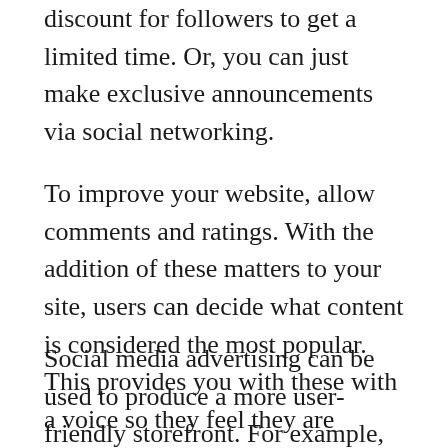discount for followers to get a limited time. Or, you can just make exclusive announcements via social networking.
To improve your website, allow comments and ratings. With the addition of these matters to your site, users can decide what content is considered the most popular. This provides you with these with a voice so they feel they are important.
Social media advertising can be used to produce a more user-friendly storefront. For example, create a Facebook store and backlink to it from your posts. Individuals who use Facebook often wander across the site and can examine your